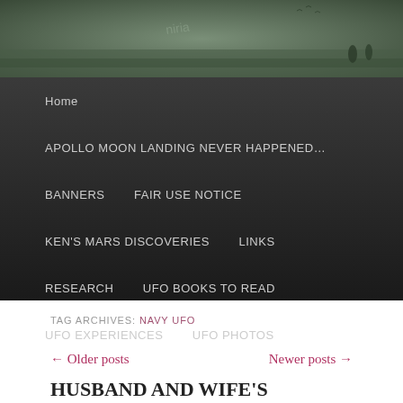[Figure (photo): Dark greenish header image showing people/figures in a field or landscape, with text watermark 'niria']
Home
APOLLO MOON LANDING NEVER HAPPENED…
BANNERS
FAIR USE NOTICE
KEN'S MARS DISCOVERIES
LINKS
RESEARCH
UFO BOOKS TO READ
UFO EXPERIENCES
UFO PHOTOS
TAG ARCHIVES: NAVY UFO
← Older posts        Newer posts →
HUSBAND AND WIFE'S